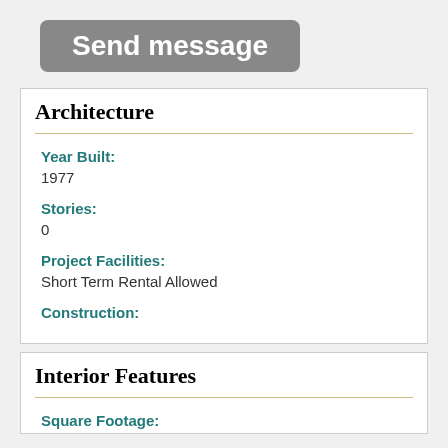[Figure (other): Gray 'Send message' button]
Architecture
Year Built:
1977
Stories:
0
Project Facilities:
Short Term Rental Allowed
Construction:
Interior Features
Square Footage: